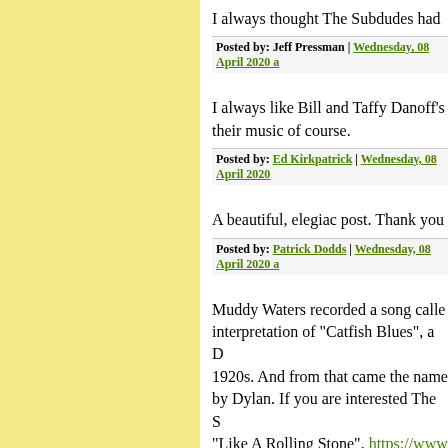I always thought The Subdudes had
Posted by: Jeff Pressman | Wednesday, 08 April 2020 a
I always like Bill and Taffy Danoff's their music of course.
Posted by: Ed Kirkpatrick | Wednesday, 08 April 2020
A beautiful, elegiac post. Thank you
Posted by: Patrick Dodds | Wednesday, 08 April 2020 a
Muddy Waters recorded a song calle interpretation of "Catfish Blues", a D 1920s. And from that came the name by Dylan. If you are interested The S "Like A Rolling Stone". https://www m0-k